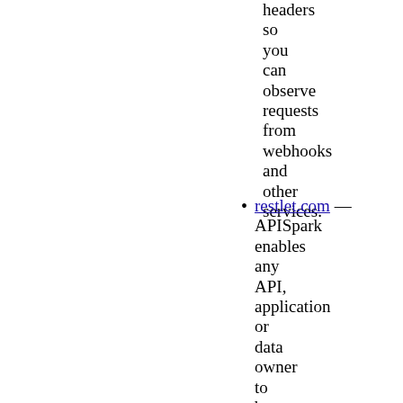headers so you can observe requests from webhooks and other services.
restlet.com — APISpark enables any API, application or data owner to become an API provider